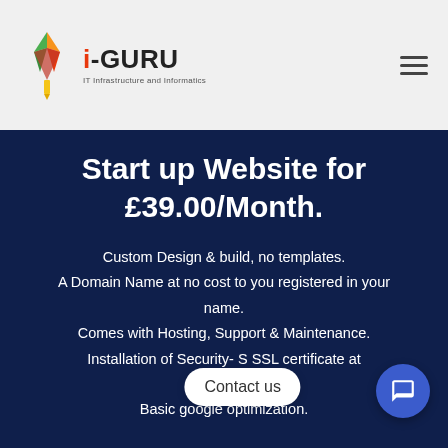[Figure (logo): i-GURU logo with colorful geometric gem/kite shape in orange, green, and red, with text 'i-GURU' and tagline 'IT Infrastructure and Informatics']
Start up Website for £39.00/Month.
Custom Design & build, no templates.
A Domain Name at no cost to you registered in your name.
Comes with Hosting, Support & Maintenance.
Installation of Security- SSL certificate at padlock.
Basic google optimization.